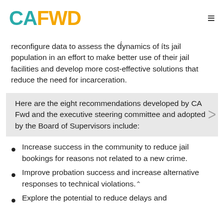CA FWD
reconfigure data to assess the dynamics of its jail population in an effort to make better use of their jail facilities and develop more cost-effective solutions that reduce the need for incarceration.
Here are the eight recommendations developed by CA Fwd and the executive steering committee and adopted by the Board of Supervisors include:
Increase success in the community to reduce jail bookings for reasons not related to a new crime.
Improve probation success and increase alternative responses to technical violations.
Explore the potential to reduce delays and